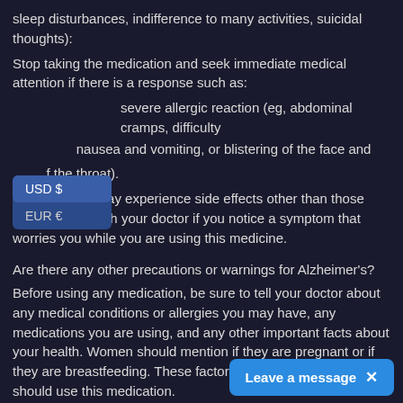sleep disturbances, indifference to many activities, suicidal thoughts):
Stop taking the medication and seek immediate medical attention if there is a response such as:
severe allergic reaction (eg, abdominal cramps, difficulty breathing, nausea and vomiting, or blistering of the face and swelling of the throat).
Some people may experience side effects other than those listed. Check with your doctor if you notice a symptom that worries you while you are using this medicine.
Are there any other precautions or warnings for Alzheimer's?
Before using any medication, be sure to tell your doctor about any medical conditions or allergies you may have, any medications you are using, and any other important facts about your health. Women should mention if they are pregnant or if they are breastfeeding. These factors may affect how you should use this medication.
Alcohol use: You should avoid drinkin